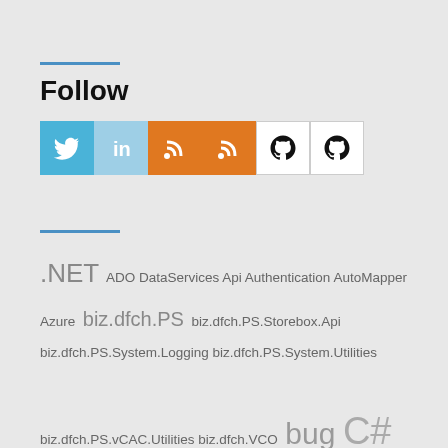Follow
[Figure (infographic): Social media icon buttons: Twitter (blue bird), LinkedIn (light blue 'in'), RSS (orange), RSS (orange), GitHub (white octocat), GitHub (white octocat)]
.NET ADO DataServices Api Authentication AutoMapper Azure biz.dfch.PS biz.dfch.PS.Storebox.Api biz.dfch.PS.System.Logging biz.dfch.PS.System.Utilities biz.dfch.PS.vCAC.Utilities biz.dfch.VCO bug C# ChargeBack CI/CD CodeContracts CTERA Cumulus DataServiceContext EF6 EnterpriseArchitect